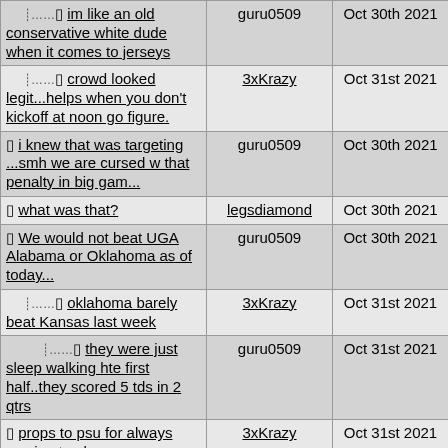| Post | Author | Date | # |
| --- | --- | --- | --- |
| im like an old conservative white dude when it comes to jerseys | guru0509 | Oct 30th 2021 | 36 |
| crowd looked legit...helps when you don't kickoff at noon go figure. | 3xKrazy | Oct 31st 2021 | 38 |
| i knew that was targeting ...smh we are cursed w that penalty in big gam... | guru0509 | Oct 30th 2021 | 32 |
| what was that? | legsdiamond | Oct 30th 2021 | 34 |
| We would not beat UGA Alabama or Oklahoma as of today... | guru0509 | Oct 30th 2021 | 35 |
| oklahoma barely beat Kansas last week | 3xKrazy | Oct 31st 2021 | 37 |
| they were just sleep walking hte first half..they scored 5 tds in 2 qtrs | guru0509 | Oct 31st 2021 | 42 |
| props to psu for always coming to play | 3xKrazy | Oct 31st 2021 | 39 |
| Sean Tucker (Cuse RB) is elite | DJR | Oct 31st 2021 | 41 |
| how the hell is Penn State still ranked? | legsdiamond | Oct 31st 2021 | 43 |
| They almost beat | Orbit_Established | Oct 31st 2021 | 44 |